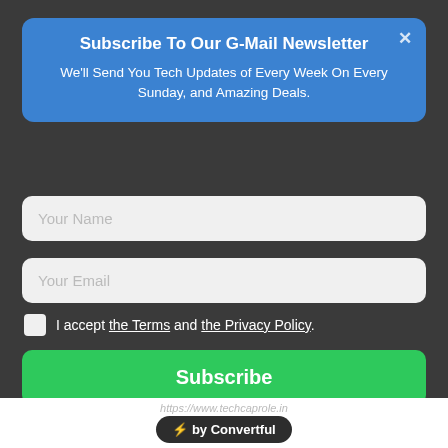Subscribe To Our G-Mail Newsletter
We'll Send You Tech Updates of Every Week On Every Sunday, and Amazing Deals.
Your Name
Your Email
I accept the Terms and the Privacy Policy.
Subscribe
https://www.techcaprole.in
[Figure (other): Convertful badge with lightning bolt emoji]
Very Much Intrested In Technology, Love to Write Articles About, Tech News, Smartphones and Gadgets Reviews and Technology Trends.
[Figure (other): Social media icons: Facebook and Instagram]